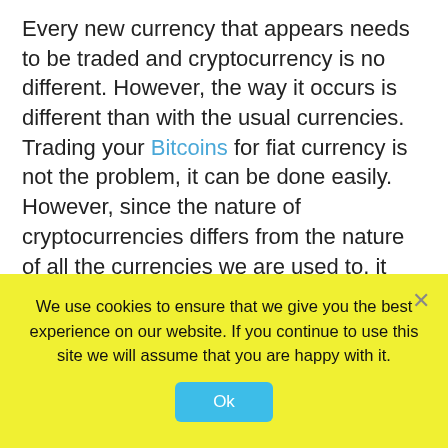Every new currency that appears needs to be traded and cryptocurrency is no different. However, the way it occurs is different than with the usual currencies. Trading your Bitcoins for fiat currency is not the problem, it can be done easily. However, since the nature of cryptocurrencies differs from the nature of all the currencies we are used to, it requires a special platform for trading. It needs to be specific and created with those specifics in mind. The pioneers who started dealing with crypto trading used the concept of the traditional exchange and then adapted it to the requirements of this new market.
It is a platform where buyers and sellers meet. They are
We use cookies to ensure that we give you the best experience on our website. If you continue to use this site we will assume that you are happy with it.